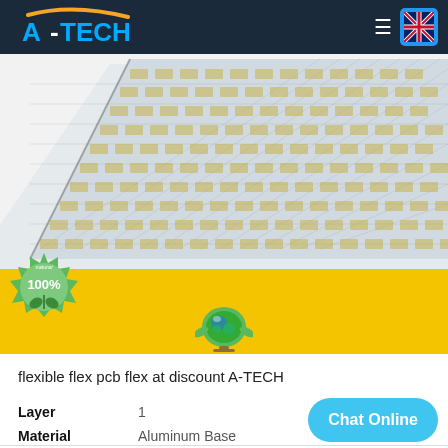A-TECH
[Figure (photo): Flexible flex PCB product photograph showing a flat flexible circuit board with a metallic/silver surface and gold circuit traces arranged in a diagonal grid pattern on a white background]
[Figure (illustration): Yellow banner strips with a green 100% nature badge on the left and a green eco globe badge in the center]
flexible flex pcb flex at discount A-TECH
| Property | Value |
| --- | --- |
| Layer | 1 |
| Material | Aluminum Base |